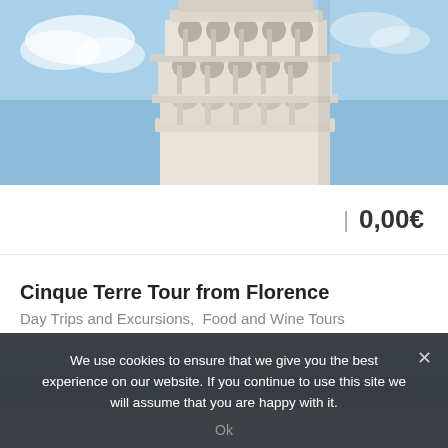[Figure (photo): Close-up photo of the Leaning Tower of Pisa showing marble arches and columns against a blue sky]
| 0,00€
Cinque Terre Tour from Florence
Day Trips and Excursions,  Food and Wine Tours
[Figure (photo): Partial photo of coastal water/sea view with blue sky]
We use cookies to ensure that we give you the best experience on our website. If you continue to use this site we will assume that you are happy with it.
Ok